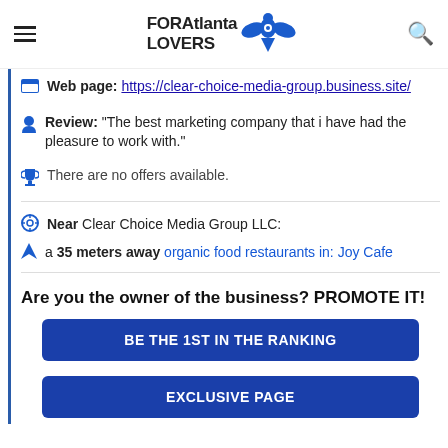FOR Atlanta LOVERS
Web page: https://clear-choice-media-group.business.site/
Review: "The best marketing company that i have had the pleasure to work with."
There are no offers available.
Near Clear Choice Media Group LLC:
a 35 meters away organic food restaurants in: Joy Cafe
Are you the owner of the business? PROMOTE IT!
BE THE 1ST IN THE RANKING
EXCLUSIVE PAGE